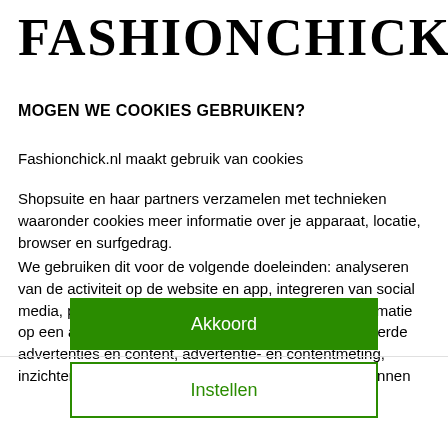FASHIONCHICK
MOGEN WE COOKIES GEBRUIKEN?
Fashionchick.nl maakt gebruik van cookies
Shopsuite en haar partners verzamelen met technieken waaronder cookies meer informatie over je apparaat, locatie, browser en surfgedrag.
We gebruiken dit voor de volgende doeleinden: analyseren van de activiteit op de website en app, integreren van social media, personaliseren van content en marketing, informatie op een apparaat opslaan en/of openen, gepersonaliseerde advertenties en content, advertentie- en contentmeting, inzichten in het publiek en productontwikkeling. We kunnen
Akkoord
Instellen